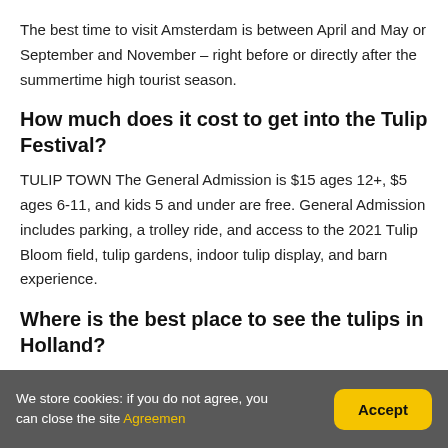The best time to visit Amsterdam is between April and May or September and November – right before or directly after the summertime high tourist season.
How much does it cost to get into the Tulip Festival?
TULIP TOWN The General Admission is $15 ages 12+, $5 ages 6-11, and kids 5 and under are free. General Admission includes parking, a trolley ride, and access to the 2021 Tulip Bloom field, tulip gardens, indoor tulip display, and barn experience.
Where is the best place to see the tulips in Holland?
We store cookies: if you do not agree, you can close the site Agreemen